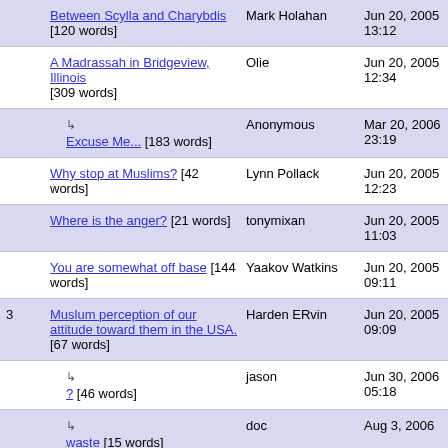| # | Title | Author | Date |
| --- | --- | --- | --- |
|  | Between Scylla and Charybdis [120 words] | Mark Holahan | Jun 20, 2005 13:12 |
|  | A Madrassah in Bridgeview, Illinois [309 words] | Olie | Jun 20, 2005 12:34 |
|  | ↳ Excuse Me... [183 words] | Anonymous | Mar 20, 2006 23:19 |
|  | Why stop at Muslims? [42 words] | Lynn Pollack | Jun 20, 2005 12:23 |
|  | Where is the anger? [21 words] | tonymixan | Jun 20, 2005 11:03 |
|  | You are somewhat off base [144 words] | Yaakov Watkins | Jun 20, 2005 09:11 |
| 3 | Muslum perception of our attitude toward them in the USA. [67 words] | Harden ERvin | Jun 20, 2005 09:09 |
|  | ↳ ? [46 words] | jason | Jun 30, 2006 05:18 |
|  | ↳ waste [15 words] | doc | Aug 3, 2006 |